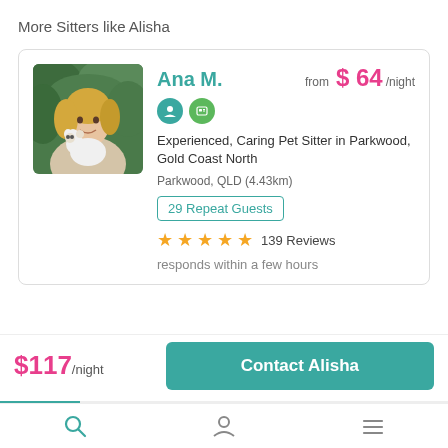More Sitters like Alisha
[Figure (photo): Photo of Ana M., a blonde woman holding a white fluffy dog, sitting in front of green foliage]
Ana M.
from $ 64 /night
Experienced, Caring Pet Sitter in Parkwood, Gold Coast North
Parkwood, QLD (4.43km)
29 Repeat Guests
139 Reviews
responds within a few hours
$117/night
Contact Alisha